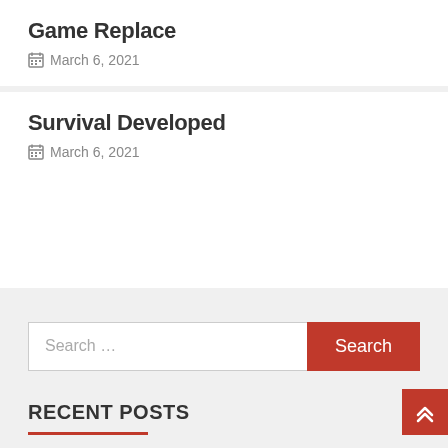Game Replace
March 6, 2021
Survival Developed
March 6, 2021
Search …
RECENT POSTS